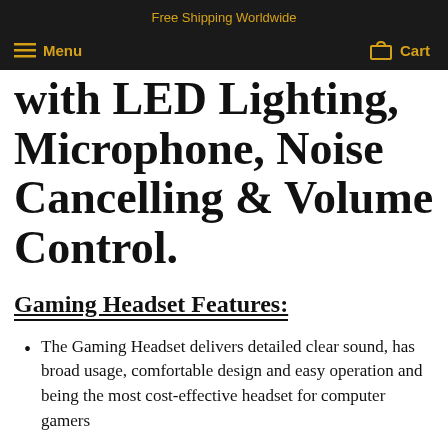Free Shipping Worldwide
Menu  Cart
with LED Lighting, Microphone, Noise Cancelling & Volume Control.
Gaming Headset Features:
The Gaming Headset delivers detailed clear sound, has broad usage, comfortable design and easy operation and being the most cost-effective headset for computer gamers